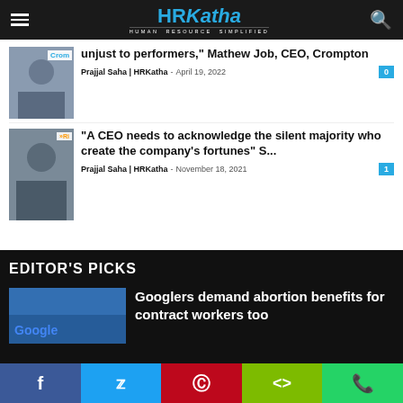HRKatha - Human Resource Simplified
unjust to performers," Mathew Job, CEO, Crompton
Prajjal Saha | HRKatha - April 19, 2022 | 0 comments
"A CEO needs to acknowledge the silent majority who create the company's fortunes" S...
Prajjal Saha | HRKatha - November 18, 2021 | 1 comment
EDITOR'S PICKS
Googlers demand abortion benefits for contract workers too